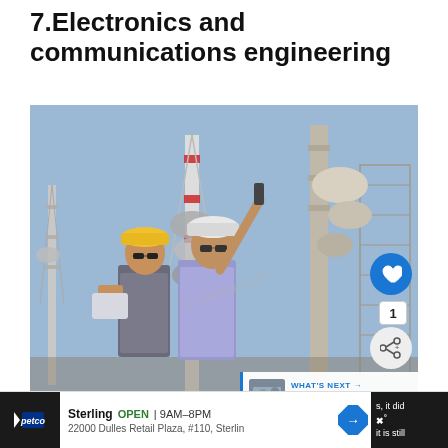7.Electronics and communications engineering
[Figure (photo): Two engineers in hard hats standing among communication towers. One wears a yellow hard hat and holds a tablet, the other wears a white hard hat and points upward holding a radio. Multiple communication antenna towers visible in background against blue sky.]
communications engineering